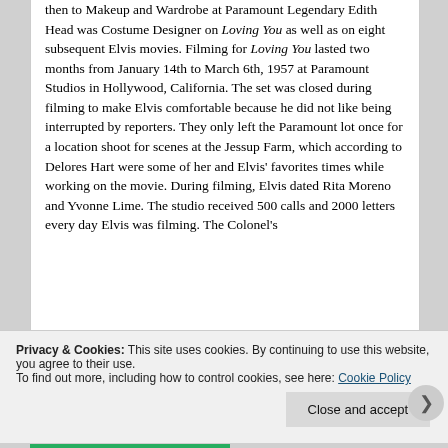then to Makeup and Wardrobe at Paramount Legendary Edith Head was Costume Designer on Loving You as well as on eight subsequent Elvis movies. Filming for Loving You lasted two months from January 14th to March 6th, 1957 at Paramount Studios in Hollywood, California. The set was closed during filming to make Elvis comfortable because he did not like being interrupted by reporters. They only left the Paramount lot once for a location shoot for scenes at the Jessup Farm, which according to Delores Hart were some of her and Elvis' favorites times while working on the movie. During filming, Elvis dated Rita Moreno and Yvonne Lime. The studio received 500 calls and 2000 letters every day Elvis was filming. The Colonel's
Privacy & Cookies: This site uses cookies. By continuing to use this website, you agree to their use.
To find out more, including how to control cookies, see here: Cookie Policy